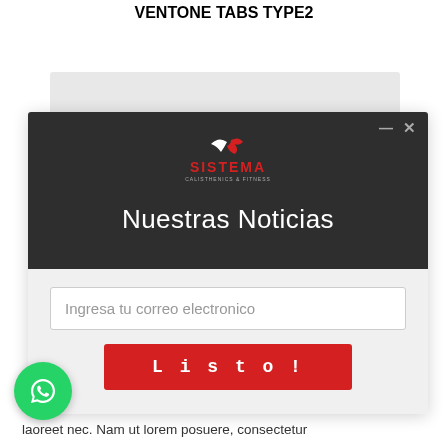VENTONE TABS TYPE2
[Figure (screenshot): Screenshot of a modal popup on a fitness website called SISTEMA Calisthenics & Fitness. The modal has a dark header with the SISTEMA logo and text 'Nuestras Noticias', and a light gray body with an email input field labeled 'Ingresa tu correo electronico' and a red 'Listo!' button.]
laoreet nec. Nam ut lorem posuere, consectetur